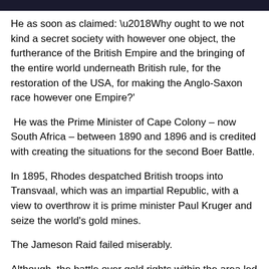He as soon as claimed: ‘Why ought to we not kind a secret society with however one object, the furtherance of the British Empire and the bringing of the entire world underneath British rule, for the restoration of the USA, for making the Anglo-Saxon race however one Empire?’
He was the Prime Minister of Cape Colony – now South Africa – between 1890 and 1896 and is credited with creating the situations for the second Boer Battle.
In 1895, Rhodes despatched British troops into Transvaal, which was an impartial Republic, with a view to overthrow it is prime minister Paul Kruger and seize the world’s gold mines.
The Jameson Raid failed miserably.
Although, the battle over gold rights within the area led to